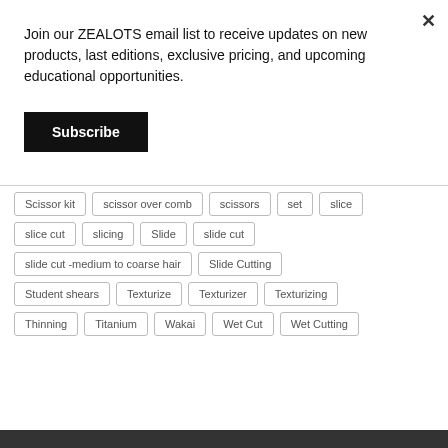Join our ZEALOTS email list to receive updates on new products, last editions, exclusive pricing, and upcoming educational opportunities.
Subscribe
Scissor kit
scissor over comb
scissors
set
slice
slice cut
slicing
Slide
slide cut
slide cut -medium to coarse hair
Slide Cutting
Student shears
Texturize
Texturizer
Texturizing
Thinning
Titanium
Wakai
Wet Cut
Wet Cutting